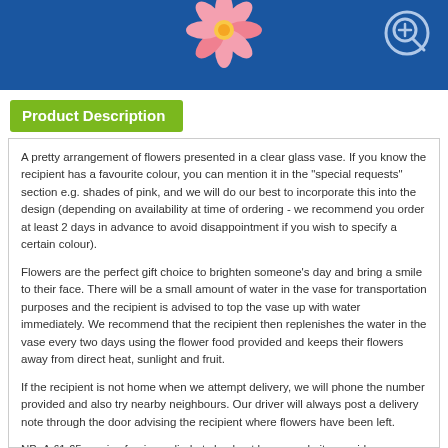[Figure (illustration): Blue banner header with a pink flower illustration centered at top and a circular zoom/magnify icon in the top right corner]
Product Description
A pretty arrangement of flowers presented in a clear glass vase. If you know the recipient has a favourite colour, you can mention it in the "special requests" section e.g. shades of pink, and we will do our best to incorporate this into the design (depending on availability at time of ordering - we recommend you order at least 2 days in advance to avoid disappointment if you wish to specify a certain colour).
Flowers are the perfect gift choice to brighten someone's day and bring a smile to their face. There will be a small amount of water in the vase for transportation purposes and the recipient is advised to top the vase up with water immediately. We recommend that the recipient then replenishes the water in the vase every two days using the flower food provided and keeps their flowers away from direct heat, sunlight and fruit.
If the recipient is not home when we attempt delivery, we will phone the number provided and also try nearby neighbours. Our driver will always post a delivery note through the door advising the recipient where flowers have been left.
NB: A £1.65 service fee is applied at checkout by our website provider